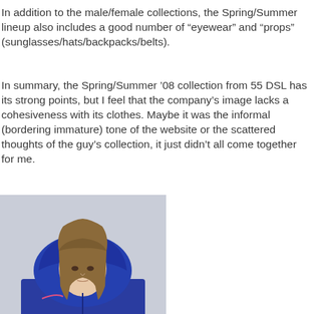In addition to the male/female collections, the Spring/Summer lineup also includes a good number of “eyewear” and “props” (sunglasses/hats/backpacks/belts).
In summary, the Spring/Summer ’08 collection from 55 DSL has its strong points, but I feel that the company’s image lacks a cohesiveness with its clothes. Maybe it was the informal (bordering immature) tone of the website or the scattered thoughts of the guy’s collection, it just didn’t all come together for me.
[Figure (photo): A young woman wearing a blue hooded jacket/windbreaker with the hood up, long straight brown hair, looking slightly downward, against a light grey background.]